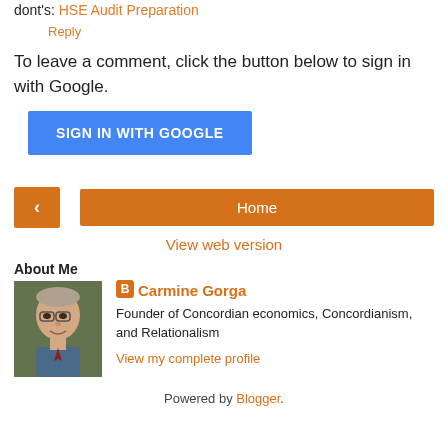dont's. HSE Audit Preparation
Reply
To leave a comment, click the button below to sign in with Google.
SIGN IN WITH GOOGLE
< Home
View web version
About Me
[Figure (photo): Profile photo of Carmine Gorga, an older man with glasses]
Carmine Gorga
Founder of Concordian economics, Concordianism, and Relationalism
View my complete profile
Powered by Blogger.